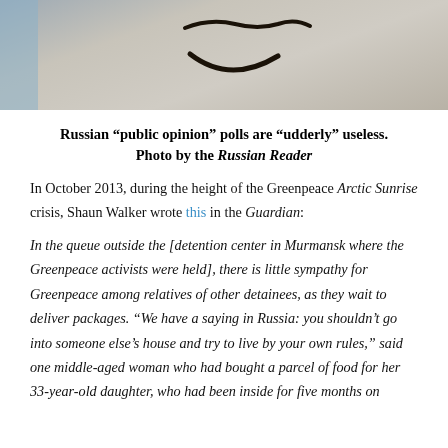[Figure (photo): Cropped photo showing graffiti of a smiley face drawn on a concrete wall, with a blue surface visible at the left edge.]
Russian “public opinion” polls are “udderly” useless. Photo by the Russian Reader
In October 2013, during the height of the Greenpeace Arctic Sunrise crisis, Shaun Walker wrote this in the Guardian:
In the queue outside the [detention center in Murmansk where the Greenpeace activists were held], there is little sympathy for Greenpeace among relatives of other detainees, as they wait to deliver packages. “We have a saying in Russia: you shouldn’t go into someone else’s house and try to live by your own rules,” said one middle-aged woman who had bought a parcel of food for her 33-year-old daughter, who had been inside for five months on